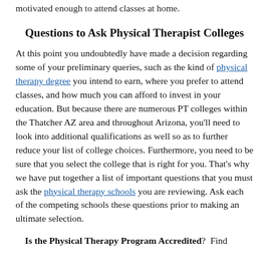motivated enough to attend classes at home.
Questions to Ask Physical Therapist Colleges
At this point you undoubtedly have made a decision regarding some of your preliminary queries, such as the kind of physical therapy degree you intend to earn, where you prefer to attend classes, and how much you can afford to invest in your education. But because there are numerous PT colleges within the Thatcher AZ area and throughout Arizona, you'll need to look into additional qualifications as well so as to further reduce your list of college choices. Furthermore, you need to be sure that you select the college that is right for you. That's why we have put together a list of important questions that you must ask the physical therapy schools you are reviewing. Ask each of the competing schools these questions prior to making an ultimate selection.
Is the Physical Therapy Program Accredited?  Find